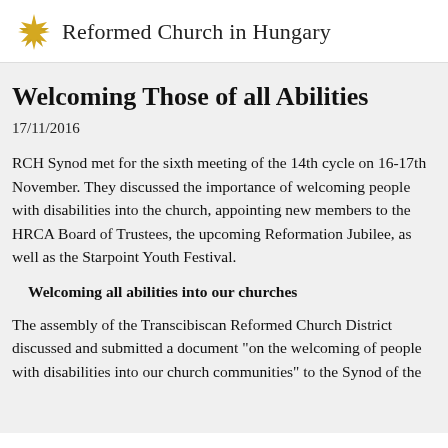Reformed Church in Hungary
Welcoming Those of all Abilities
17/11/2016
RCH Synod met for the sixth meeting of the 14th cycle on 16-17th November. They discussed the importance of welcoming people with disabilities into the church, appointing new members to the HRCA Board of Trustees, the upcoming Reformation Jubilee, as well as the Starpoint Youth Festival.
Welcoming all abilities into our churches
The assembly of the Transcibiscan Reformed Church District discussed and submitted a document "on the welcoming of people with disabilities into our church communities" to the Synod of the